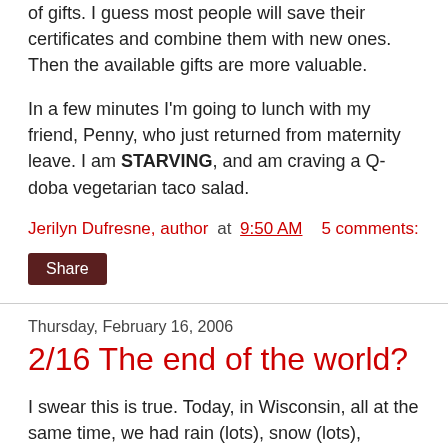of gifts. I guess most people will save their certificates and combine them with new ones. Then the available gifts are more valuable.
In a few minutes I'm going to lunch with my friend, Penny, who just returned from maternity leave. I am STARVING, and am craving a Q-doba vegetarian taco salad.
Jerilyn Dufresne, author at 9:50 AM    5 comments:
Share
Thursday, February 16, 2006
2/16 The end of the world?
I swear this is true. Today, in Wisconsin, all at the same time, we had rain (lots), snow (lots), thunder (loud) and lightning (lots). It was freakin' awesome!
Driving to get my hair cut wasn't quite as awesome, but was certainly interesting. I went during lunchtime, and on the five mile drive there saw five accidents. That's not all that many